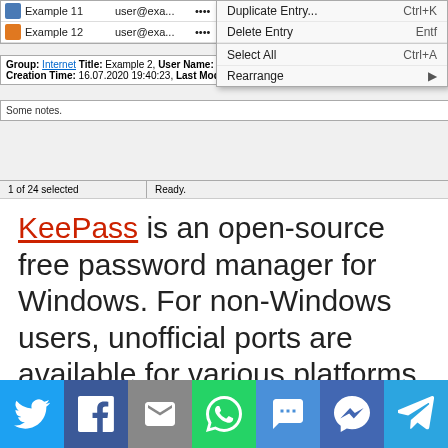[Figure (screenshot): KeePass password manager window showing entries Example 11 and Example 12, a context menu with options Duplicate Entry (Ctrl+K), Delete Entry (Entf), Select All (Ctrl+A), and Rearrange. Below the list is an entry detail panel showing Group: Internet, Title: Example 2, User Name: user@example.net, Creation Time: 16.07.2020 19:40:23, Last Modification Time: 16.07.20... Some notes. Status bar shows '1 of 24 selected' and 'Ready.']
KeePass is an open-source free password manager for Windows. For non-Windows users, unofficial ports are available for various platforms such as Android, macOS, iOS, and iPadOS. The other drawback is its inability of cloud syncing and automatic syncing across multiple devices makes it harder work to use.
[Figure (infographic): Social sharing bar with buttons for Twitter, Facebook, Email, WhatsApp, SMS, Messenger, and Telegram]